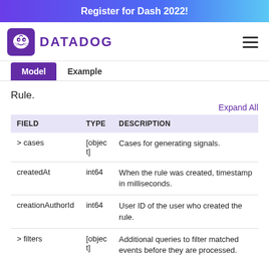Register for Dash 2022!
[Figure (logo): Datadog logo with dog icon and DATADOG wordmark in purple]
Model   Example
Rule.
Expand All
| FIELD | TYPE | DESCRIPTION |
| --- | --- | --- |
| > cases | [object] | Cases for generating signals. |
| createdAt | int64 | When the rule was created, timestamp in milliseconds. |
| creationAuthorId | int64 | User ID of the user who created the rule. |
| > filters | [object] | Additional queries to filter matched events before they are processed. |